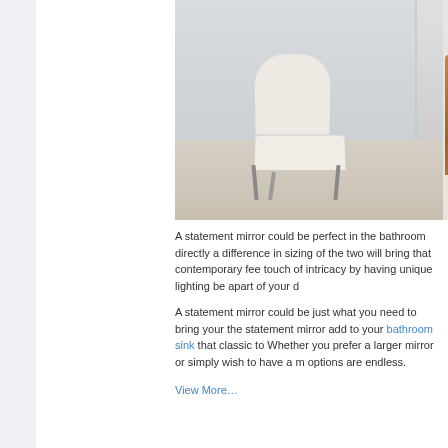[Figure (photo): Modern bathroom interior showing a white lounge chair with metal frame against a glass partition/shower wall on the left, and a floating wooden vanity cabinet with white vessel sink, faucet, and toiletries on the right. Light grey and beige toned room.]
A statement mirror could be perfect in the bathroom directly a difference in sizing of the two will bring that contemporary fee touch of intricacy by having unique lighting be apart of your d
A statement mirror could be just what you need to bring your the statement mirror add to your bathroom sink that classic to Whether you prefer a larger mirror or simply wish to have a m options are endless.
View More…